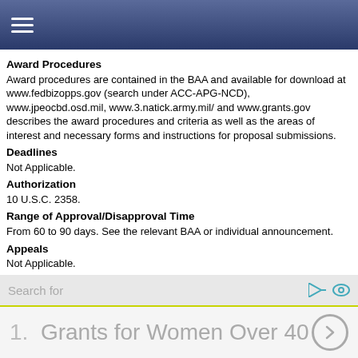≡ (navigation menu)
Award Procedures
Award procedures are contained in the BAA and available for download at www.fedbizopps.gov (search under ACC-APG-NCD), www.jpeocbd.osd.mil, www.3.natick.army.mil/ and www.grants.gov describes the award procedures and criteria as well as the areas of interest and necessary forms and instructions for proposal submissions.
Deadlines
Not Applicable.
Authorization
10 U.S.C. 2358.
Range of Approval/Disapproval Time
From 60 to 90 days. See the relevant BAA or individual announcement.
Appeals
Not Applicable.
Renewals
Once a grant is awarded, any follow-on research proposal may be treated as a new request. Follow-on work should allow for review time noted above.
Assistance Considerations
Formula and Matching Requirements
Search for
1.  Grants for Women Over 40